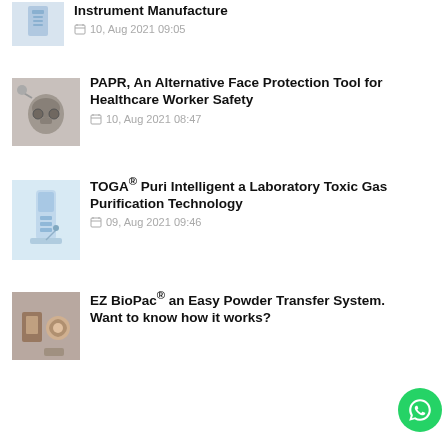Instrument Manufacture
10, Aug 2021 09:05
[Figure (photo): PAPR respiratory protection equipment photo]
PAPR, An Alternative Face Protection Tool for Healthcare Worker Safety
10, Aug 2021 08:47
[Figure (photo): TOGA Puri lab gas purification device photo]
TOGA® Puri Intelligent a Laboratory Toxic Gas Purification Technology
09, Aug 2021 09:46
[Figure (photo): EZ BioPac powder transfer system person photo]
EZ BioPac® an Easy Powder Transfer System. Want to know how it works?